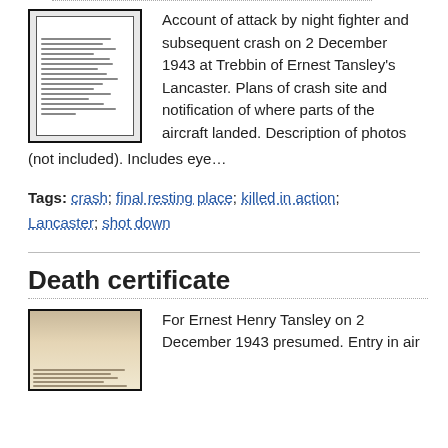[Figure (photo): Thumbnail image of a document page with typewritten text lines]
Account of attack by night fighter and subsequent crash on 2 December 1943 at Trebbin of Ernest Tansley's Lancaster. Plans of crash site and notification of where parts of the aircraft landed. Description of photos (not included). Includes eye…
Tags: crash; final resting place; killed in action; Lancaster; shot down
Death certificate
[Figure (photo): Thumbnail image of a death certificate document]
For Ernest Henry Tansley on 2 December 1943 presumed. Entry in air